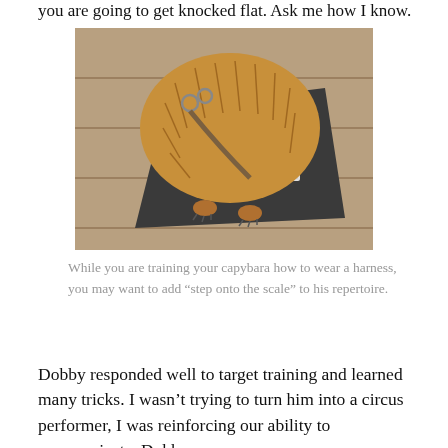you are going to get knocked flat. Ask me how I know.
[Figure (photo): Top-down view of a capybara wearing a harness, standing on a dark non-slip scale mat on a wooden deck. A digital scale display is visible showing a weight reading.]
While you are training your capybara how to wear a harness, you may want to add “step onto the scale” to his repertoire.
Dobby responded well to target training and learned many tricks. I wasn't trying to turn him into a circus performer, I was reinforcing our ability to communicate. Dobby was